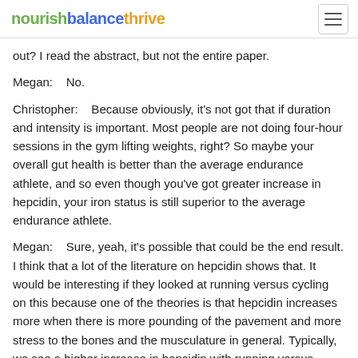nourishbalancethrive
out? I read the abstract, but not the entire paper.
Megan:    No.
Christopher:    Because obviously, it's not got that if duration and intensity is important. Most people are not doing four-hour sessions in the gym lifting weights, right? So maybe your overall gut health is better than the average endurance athlete, and so even though you've got greater increase in hepcidin, your iron status is still superior to the average endurance athlete.
Megan:    Sure, yeah, it's possible that could be the end result. I think that a lot of the literature on hepcidin shows that. It would be interesting if they looked at running versus cycling on this because one of the theories is that hepcidin increases more when there is more pounding of the pavement and more stress to the bones and the musculature in general. Typically, we see a higher increase in hepcidin with running versus cycling. If you think about resistance exercise, you are adding a lot of weight to bones and the skeleton, so the reasoning behind that could potentially be due to just the amount of stress on the skeletal musculature.